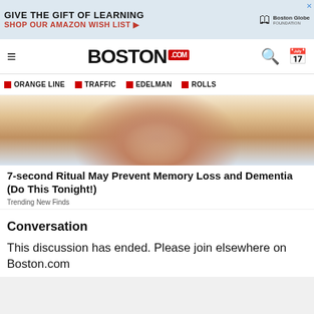[Figure (screenshot): Advertisement banner: 'GIVE THE GIFT OF LEARNING / SHOP OUR AMAZON WISH LIST' with Boston Globe Foundation logo and a cartoon figure.]
BOSTON.com
ORANGE LINE
TRAFFIC
EDELMAN
ROLLS
[Figure (photo): Close-up photo of an elderly person's neck and lower face area, showing wrinkled skin with a yellow background above.]
7-second Ritual May Prevent Memory Loss and Dementia (Do This Tonight!)
Trending New Finds
Conversation
This discussion has ended. Please join elsewhere on Boston.com